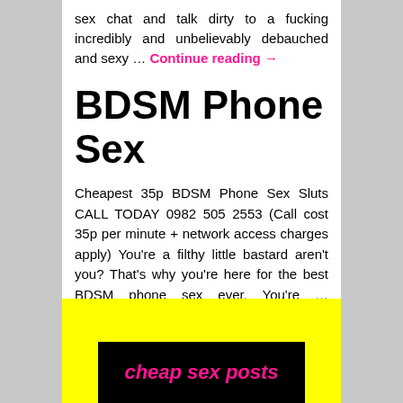sex chat and talk dirty to a fucking incredibly and unbelievably debauched and sexy … Continue reading →
BDSM Phone Sex
Cheapest 35p BDSM Phone Sex Sluts CALL TODAY 0982 505 2553 (Call cost 35p per minute + network access charges apply) You're a filthy little bastard aren't you? That's why you're here for the best BDSM phone sex ever. You're … Continue reading →
cheap sex posts